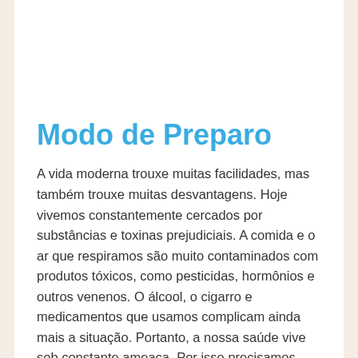Modo de Preparo
A vida moderna trouxe muitas facilidades, mas também trouxe muitas desvantagens. Hoje vivemos constantemente cercados por substâncias e toxinas prejudiciais. A comida e o ar que respiramos são muito contaminados com produtos tóxicos, como pesticidas, hormônios e outros venenos. O álcool, o cigarro e medicamentos que usamos complicam ainda mais a situação. Portanto, a nossa saúde vive sob constante ameaça. Por isso precisamos limpar o corpo, a fim de restaurar as suas funções próprias e o bem-estar. Primeiro de tudo, você precisa aprender a reconhecer os sinais que seu corpo está enviando para lhe comunicar que está cheio de toxinas: Estes são os sintomas que não devemos ignorar: 1. Excesso de gordura no abdome A